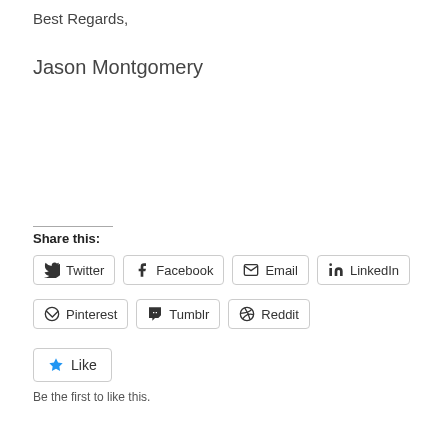Best Regards,
Jason Montgomery
Share this:
Twitter Facebook Email LinkedIn Pinterest Tumblr Reddit
Like
Be the first to like this.